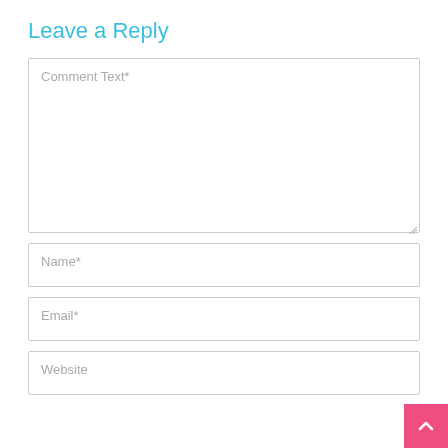Leave a Reply
Comment Text*
Name*
Email*
Website